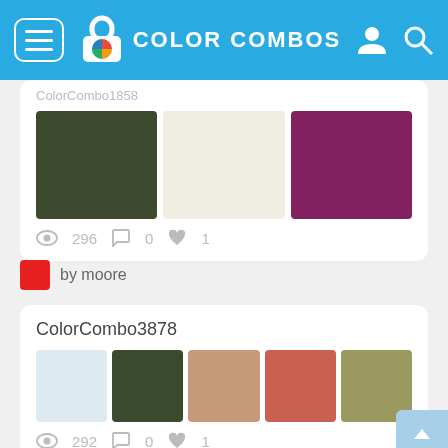COLOR COMBOS
ColorCombo1858
[Figure (infographic): Three color swatches: dark olive green, off-white/cream, and deep magenta/purple]
296  0  1
by moore
ColorCombo3878
[Figure (infographic): Five color swatches: light blue, dark olive green, tan/light brown, muted coral/red, and olive/khaki]
292  0  1
by crx2speed